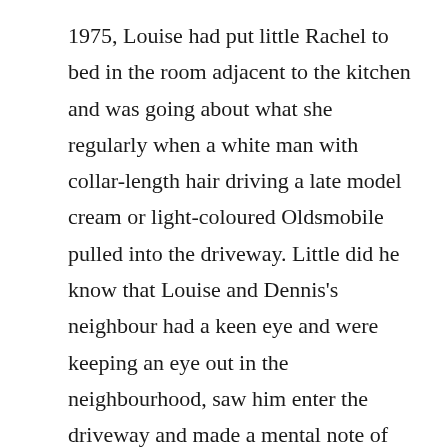1975, Louise had put little Rachel to bed in the room adjacent to the kitchen and was going about what she regularly when a white man with collar-length hair driving a late model cream or light-coloured Oldsmobile pulled into the driveway. Little did he know that Louise and Dennis's neighbour had a keen eye and were keeping an eye out in the neighbourhood, saw him enter the driveway and made a mental note of the vehicle and the man. There was no other person in the car with him. He got out of the car and made his way to the door. He awkwardly stood at the door for a few minutes before someone finally let him inside. After all, it was a